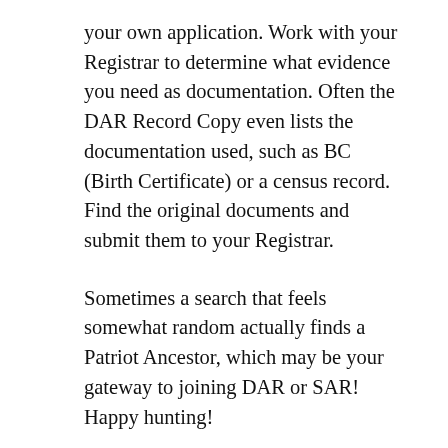your own application. Work with your Registrar to determine what evidence you need as documentation. Often the DAR Record Copy even lists the documentation used, such as BC (Birth Certificate) or a census record. Find the original documents and submit them to your Registrar.
Sometimes a search that feels somewhat random actually finds a Patriot Ancestor, which may be your gateway to joining DAR or SAR! Happy hunting!
Mark Cross / November 28, 2020 / Basic Skills, Colonial Ancestors, DAR/SAR American Patriot, Genealogy Societies / Leave a comment